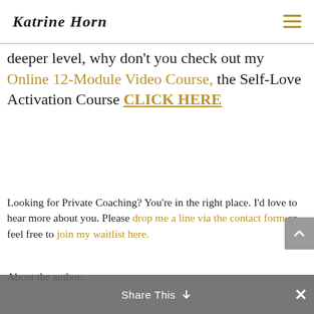Katrine Horn
deeper level, why don't you check out my Online 12-Module Video Course, the Self-Love Activation Course CLICK HERE
Looking for Private Coaching? You're in the right place. I'd love to hear more about you. Please drop me a line via the contact form or feel free to join my waitlist here.
About the author:
Katrine Horn is a speaker and life coach who guides women to create the life of their dreams, to recognize
Share This